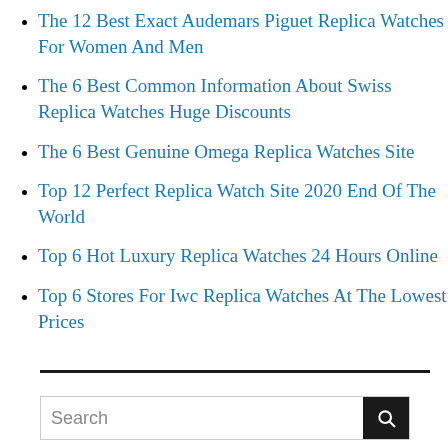The 12 Best Exact Audemars Piguet Replica Watches For Women And Men
The 6 Best Common Information About Swiss Replica Watches Huge Discounts
The 6 Best Genuine Omega Replica Watches Site
Top 12 Perfect Replica Watch Site 2020 End Of The World
Top 6 Hot Luxury Replica Watches 24 Hours Online
Top 6 Stores For Iwc Replica Watches At The Lowest Prices